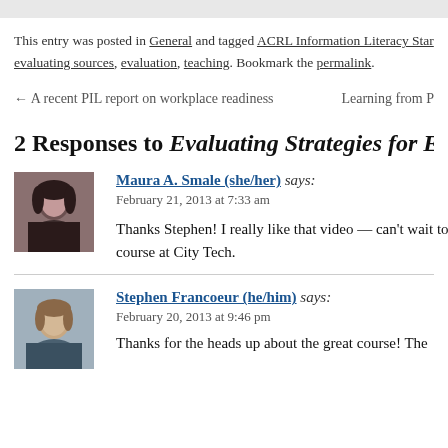This entry was posted in General and tagged ACRL Information Literacy Standards, evaluating sources, evaluation, teaching. Bookmark the permalink.
← A recent PIL report on workplace readiness    Learning from P
2 Responses to Evaluating Strategies for E
Maura A. Smale (she/her) says:
February 21, 2013 at 7:33 am

Thanks Stephen! I really like that video — can't wait to use it in my course at City Tech.
Stephen Francoeur (he/him) says:
February 20, 2013 at 9:46 pm

Thanks for the heads up about the great course! The